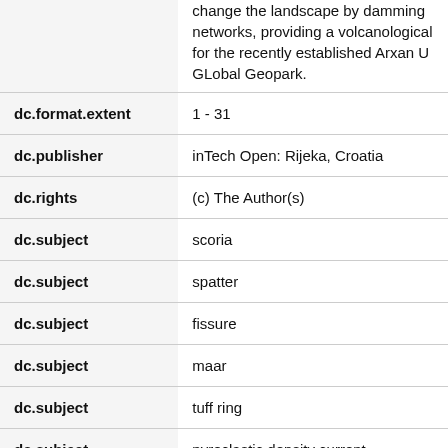| Field | Value |
| --- | --- |
| dc.format.extent | 1 - 31 |
| dc.publisher | inTech Open: Rijeka, Croatia |
| dc.rights | (c) The Author(s) |
| dc.subject | scoria |
| dc.subject | spatter |
| dc.subject | fissure |
| dc.subject | maar |
| dc.subject | tuff ring |
| dc.subject | pyroclastic density current |
| dc.subject | ash |